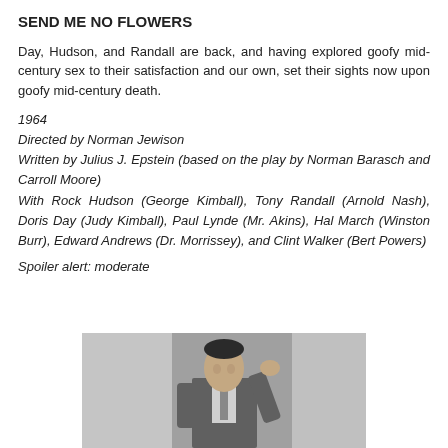SEND ME NO FLOWERS
Day, Hudson, and Randall are back, and having explored goofy mid-century sex to their satisfaction and our own, set their sights now upon goofy mid-century death.
1964
Directed by Norman Jewison
Written by Julius J. Epstein (based on the play by Norman Barasch and Carroll Moore)
With Rock Hudson (George Kimball), Tony Randall (Arnold Nash), Doris Day (Judy Kimball), Paul Lynde (Mr. Akins), Hal March (Winston Burr), Edward Andrews (Dr. Morrissey), and Clint Walker (Bert Powers)
Spoiler alert: moderate
[Figure (photo): Black and white film still showing a man in a suit, appears to be from the 1964 film Send Me No Flowers]